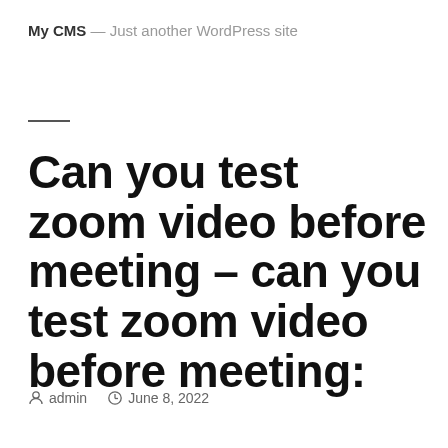My CMS — Just another WordPress site
Can you test zoom video before meeting – can you test zoom video before meeting:
admin   June 8, 2022